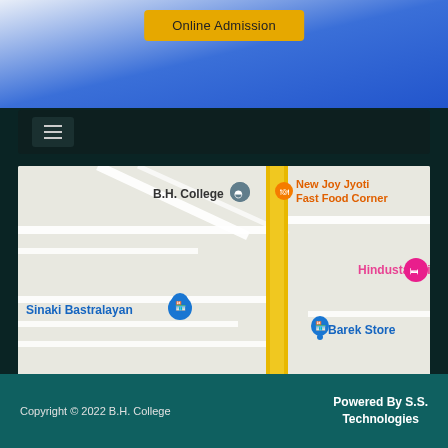Online Admission
[Figure (screenshot): Dark navigation bar with hamburger menu icon on a college website]
[Figure (map): Google Maps screenshot showing B.H. College area with nearby landmarks: New Joy Jyoti Fast Food Corner, Hindustan Line, Sinaki Bastralayan, Barek Store. A yellow road runs vertically through the center of the map.]
Copyright © 2022 B.H. College    Powered By S.S. Technologies